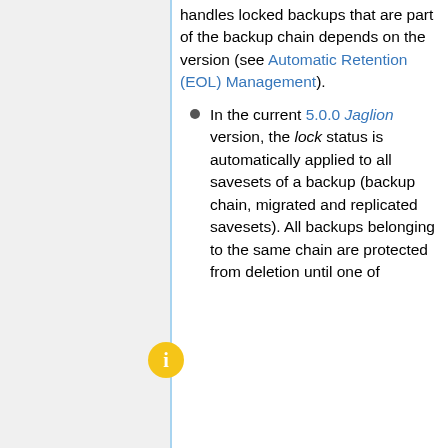handles locked backups that are part of the backup chain depends on the version (see Automatic Retention (EOL) Management).
In the current 5.0.0 Jaglion version, the lock status is automatically applied to all savesets of a backup (backup chain, migrated and replicated savesets). All backups belonging to the same chain are protected from deletion until one of